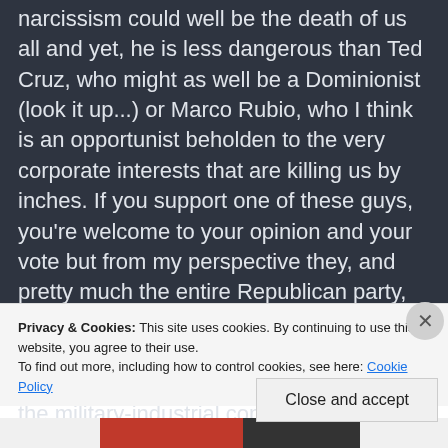narcissism could well be the death of us all and yet, he is less dangerous than Ted Cruz, who might as well be a Dominionist (look it up...) or Marco Rubio, who I think is an opportunist beholden to the very corporate interests that are killing us by inches. If you support one of these guys, you're welcome to your opinion and your vote but from my perspective they, and pretty much the entire Republican party, are addicted to fear and the power of the elites, the 1%. The party of Lincoln and Roosevelt has become handmaiden to the military-industrial complex,
Privacy & Cookies: This site uses cookies. By continuing to use this website, you agree to their use.
To find out more, including how to control cookies, see here: Cookie Policy
Close and accept